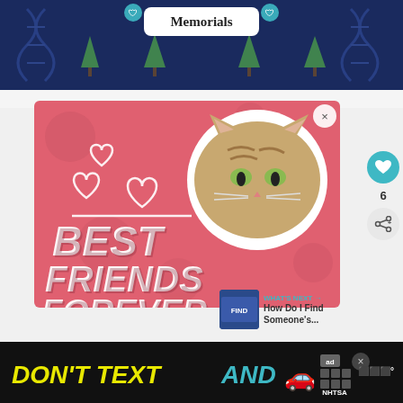[Figure (screenshot): Top navigation banner with 'Memorials' text on dark blue DNA pattern background with tree icons]
[Figure (screenshot): Advertisement banner featuring a tabby cat with white hearts and bold text reading BEST FRIENDS FOREVER on a pink background]
6
WHAT'S NEXT → How Do I Find Someone's...
[Figure (screenshot): Bottom advertisement banner: DON'T TEXT AND [car emoji] with NHTSA branding on black background]